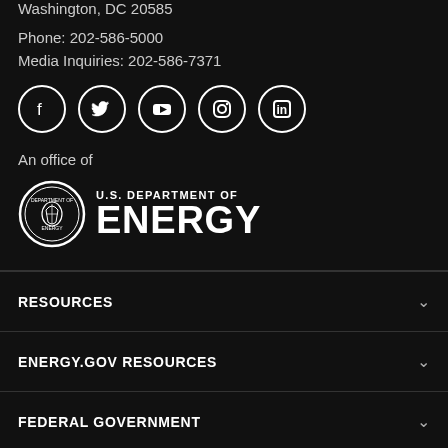Washington, DC 20585
Phone: 202-586-5000
Media Inquiries: 202-586-7371
[Figure (infographic): Row of five social media icon circles: Facebook, Twitter, YouTube, Instagram, LinkedIn]
An office of
[Figure (logo): U.S. Department of Energy logo with circular seal on left and text 'U.S. DEPARTMENT OF ENERGY' on right]
RESOURCES
ENERGY.GOV RESOURCES
FEDERAL GOVERNMENT